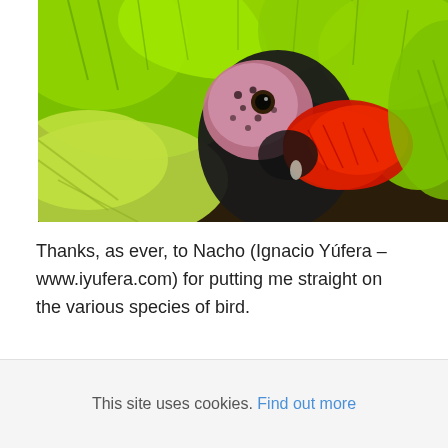[Figure (photo): Close-up photo of a green parrot (macaw) with bright lime-green feathers covering most of the frame, a pink/purple facial patch around the eye, and a vivid red patch of feathers near the beak/chin area. The background is dark brown/black bokeh.]
Thanks, as ever, to Nacho (Ignacio Yúfera – www.iyufera.com) for putting me straight on the various species of bird.
This site uses cookies. Find out more